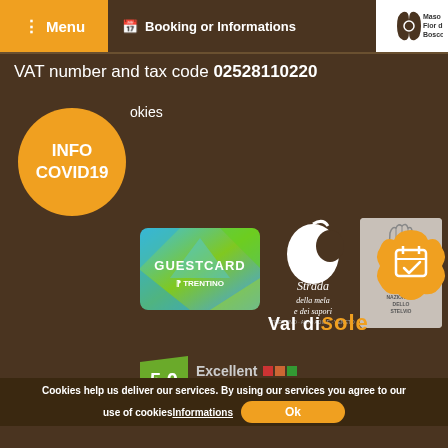☰ Menu   📅 Booking or Informations   Maso Fior di Bosco
VAT number and tax code 02528110220
INFO COVID19
okies
[Figure (logo): Guestcard Trentino logo - colorful card with geometric shapes]
[Figure (logo): Strada della mela e dei sapori - apple logo with cursive Italian text]
[Figure (logo): Parco Nazionale dello Stelvio, Val di Sole - hand and nature logo]
[Figure (logo): Booking calendar button with checkmark on orange flower shape]
Excellent  ★★★★★  51 reviews  5.0
MADE IN KUMBE WITH PASSION
Cookies help us deliver our services. By using our services you agree to our use of cookiesInformations
Ok